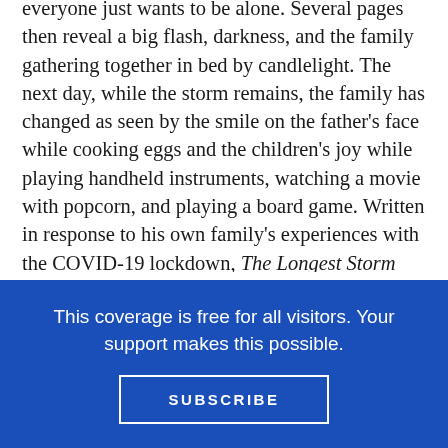everyone just wants to be alone. Several pages then reveal a big flash, darkness, and the family gathering together in bed by candlelight. The next day, while the storm remains, the family has changed as seen by the smile on the father's face while cooking eggs and the children's joy while playing handheld instruments, watching a movie with popcorn, and playing a board game. Written in response to his own family's experiences with the COVID-19 lockdown, The Longest Storm eloquently acknowledges the family challenges we all endured through the most restrictive days of the pandemic while also serving as a comforting text for the storms that are yet to come. Illustrations use a palette of deep blues and bright
This coverage is free for all visitors. Your support makes this possible.
SUBSCRIBE